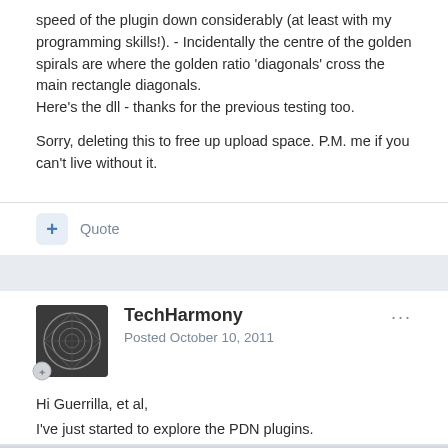speed of the plugin down considerably (at least with my programming skills!). - Incidentally the centre of the golden spirals are where the golden ratio 'diagonals' cross the main rectangle diagonals.
Here's the dll - thanks for the previous testing too.
Sorry, deleting this to free up upload space. P.M. me if you can't live without it.
+ Quote
TechHarmony
Posted October 10, 2011
Hi Guerrilla, et al,
I've just started to explore the PDN plugins.
You mention in one of your comments, the plugin